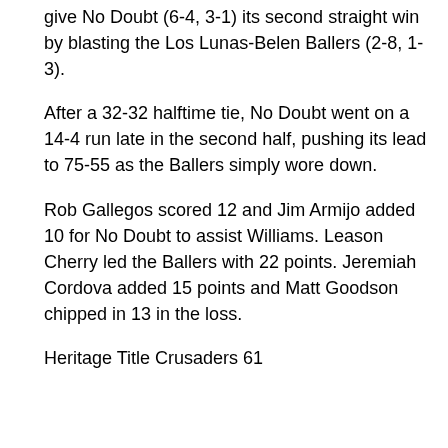give No Doubt (6-4, 3-1) its second straight win by blasting the Los Lunas-Belen Ballers (2-8, 1-3).
After a 32-32 halftime tie, No Doubt went on a 14-4 run late in the second half, pushing its lead to 75-55 as the Ballers simply wore down.
Rob Gallegos scored 12 and Jim Armijo added 10 for No Doubt to assist Williams. Leason Cherry led the Ballers with 22 points. Jeremiah Cordova added 15 points and Matt Goodson chipped in 13 in the loss.
Heritage Title Crusaders 61